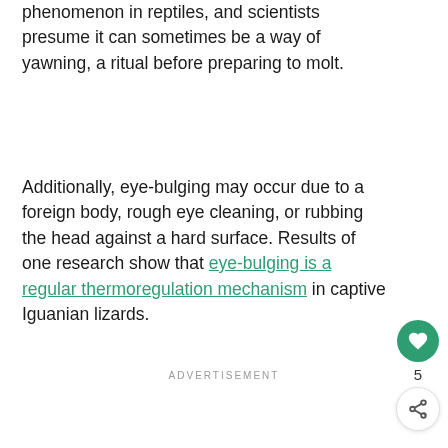phenomenon in reptiles, and scientists presume it can sometimes be a way of yawning, a ritual before preparing to molt.
Additionally, eye-bulging may occur due to a foreign body, rough eye cleaning, or rubbing the head against a hard surface. Results of one research show that eye-bulging is a regular thermoregulation mechanism in captive Iguanian lizards.
ADVERTISEMENT